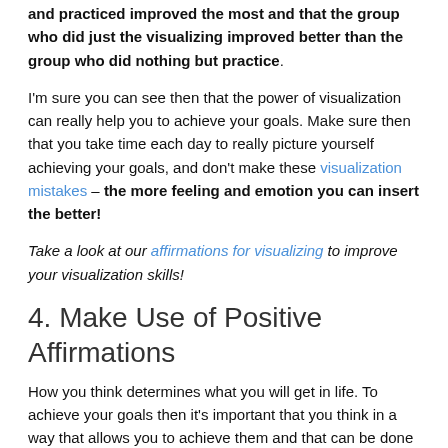and practiced improved the most and that the group who did just the visualizing improved better than the group who did nothing but practice.
I'm sure you can see then that the power of visualization can really help you to achieve your goals. Make sure then that you take time each day to really picture yourself achieving your goals, and don't make these visualization mistakes – the more feeling and emotion you can insert the better!
Take a look at our affirmations for visualizing to improve your visualization skills!
4. Make Use of Positive Affirmations
How you think determines what you will get in life. To achieve your goals then it's important that you think in a way that allows you to achieve them and that can be done by using the power of positive affirmations.